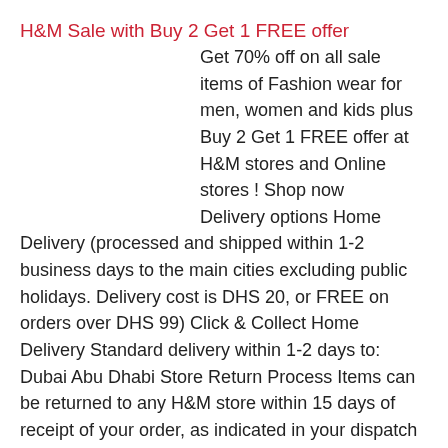H&M Sale with Buy 2 Get 1 FREE offer
Get 70% off on all sale items of Fashion wear for men, women and kids plus Buy 2 Get 1 FREE offer at H&M stores and Online stores ! Shop now   Delivery options Home Delivery (processed and shipped within 1-2 business days to the main cities excluding public holidays. Delivery cost is DHS 20, or FREE on orders over DHS 99) Click & Collect Home Delivery Standard delivery within 1-2 days to: Dubai Abu Dhabi Store Return Process Items can be returned to any H&M store within 15 days of receipt of your order, as indicated in your dispatch email. Returned items must be in an unused condition, and in their original packaging A copy of the invoice should be included H&M sale Online Return Process Step 1: Call Alshaya Customer service on 800-74292 and inform them that you want to return items. Share the required details with the customer service